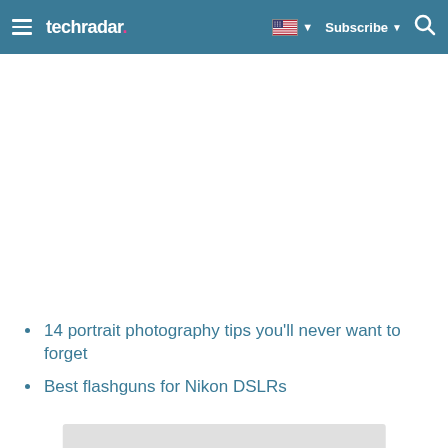techradar — Subscribe
14 portrait photography tips you'll never want to forget
Best flashguns for Nikon DSLRs